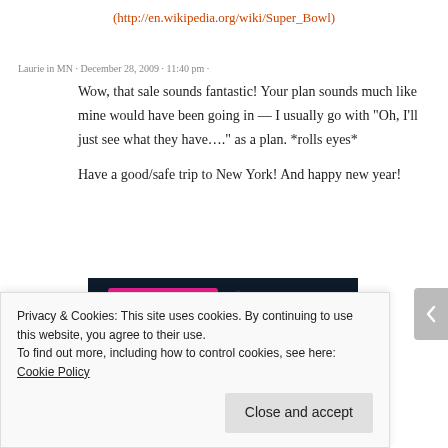(http://en.wikipedia.org/wiki/Super_Bowl)
Laurie in MN · December 28, 2009 · 11:40 pm ·
Wow, that sale sounds fantastic! Your plan sounds much like mine would have been going in — I usually go with "Oh, I'll just see what they have…." as a plan. *rolls eyes*

Have a good/safe trip to New York! And happy new year!
[Figure (screenshot): Dark navy advertisement banner with pink button on left and circular dotted white border on right containing 'CROWD' text in teal/cyan color]
Privacy & Cookies: This site uses cookies. By continuing to use this website, you agree to their use.
To find out more, including how to control cookies, see here: Cookie Policy